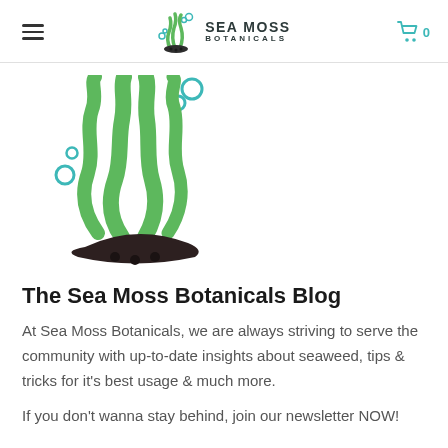SEA MOSS BOTANICALS
[Figure (logo): Sea Moss Botanicals logo: green seaweed fronds with teal bubbles rising above a dark rock/shadow base]
The Sea Moss Botanicals Blog
At Sea Moss Botanicals, we are always striving to serve the community with up-to-date insights about seaweed, tips & tricks for it's best usage & much more.
If you don't wanna stay behind, join our newsletter NOW!